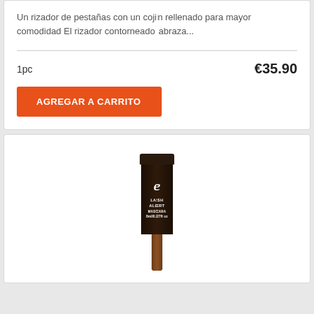Un rizador de pestañas con un cojin rellenado para mayor comodidad El rizador contorneado abraza...
1pc
€35.90
AGREGAR A CARRITO
[Figure (photo): Product photo of a mascara/lash tube with dark brown body and handle, labeled 'LASH ALERT' with an 'e' logo]